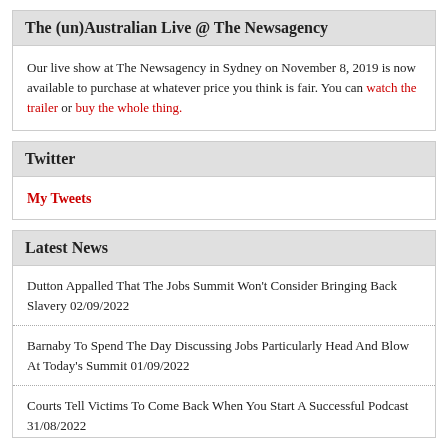The (un)Australian Live @ The Newsagency
Our live show at The Newsagency in Sydney on November 8, 2019 is now available to purchase at whatever price you think is fair. You can watch the trailer or buy the whole thing.
Twitter
My Tweets
Latest News
Dutton Appalled That The Jobs Summit Won't Consider Bringing Back Slavery 02/09/2022
Barnaby To Spend The Day Discussing Jobs Particularly Head And Blow At Today's Summit 01/09/2022
Courts Tell Victims To Come Back When You Start A Successful Podcast 31/08/2022